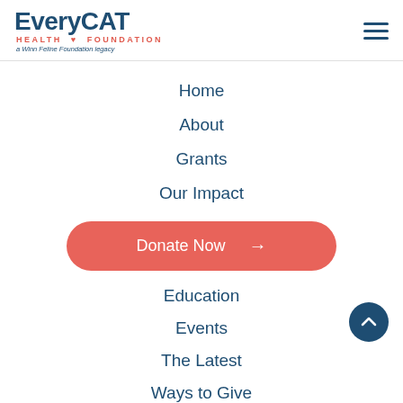EveryCat Health Foundation — a Winn Feline Foundation legacy
Home
About
Grants
Our Impact
Donate Now →
Education
Events
The Latest
Ways to Give